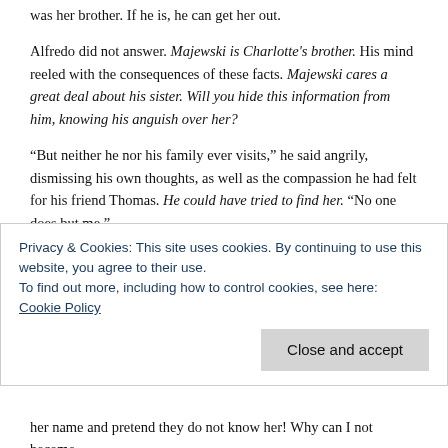was her brother. If he is, he can get her out.
Alfredo did not answer. Majewski is Charlotte’s brother. His mind reeled with the consequences of these facts. Majewski cares a great deal about his sister. Will you hide this information from him, knowing his anguish over her?
“But neither he nor his family ever visits,” he said angrily, dismissing his own thoughts, as well as the compassion he had felt for his friend Thomas. He could have tried to find her. “No one does but me.”
“Well, anyway,” Kate said, “Mr. Majewski died in 90s,  after which the family lawyer set up a permanent trust fund with Rosencranz as the beneficiary, for Charlotte’s upkeep until she dies.”
Privacy & Cookies: This site uses cookies. By continuing to use this website, you agree to their use.
To find out more, including how to control cookies, see here:
Cookie Policy
Close and accept
her name and pretend they do not know her! Why can I not become